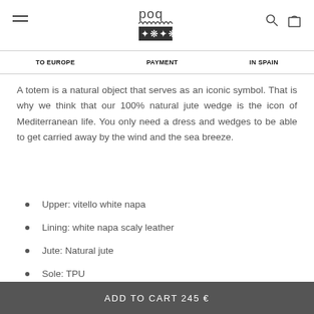POQ [logo with decorative pattern]
TO EUROPE | PAYMENT | IN SPAIN
A totem is a natural object that serves as an iconic symbol. That is why we think that our 100% natural jute wedge is the icon of Mediterranean life. You only need a dress and wedges to be able to get carried away by the wind and the sea breeze.
Upper: vitello white napa
Lining: white napa scaly leather
Jute: Natural jute
Sole: TPU
ADD TO CART 245 €